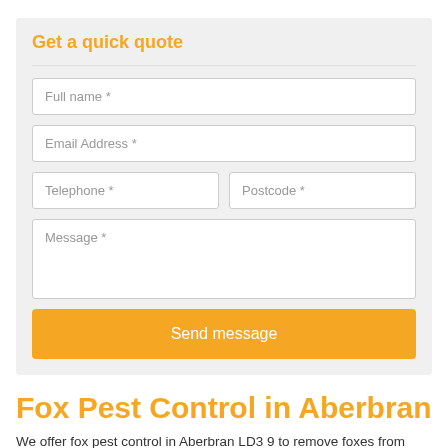Get a quick quote
Full name *
Email Address *
Telephone *
Postcode *
Message *
Send message
Fox Pest Control in Aberbran
We offer fox pest control in Aberbran LD3 9 to remove foxes from